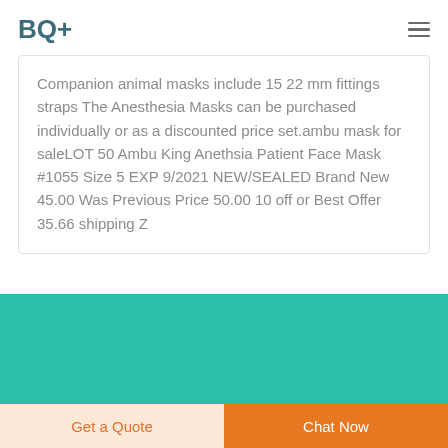BQ+
Companion animal masks include 15 22 mm fittings straps The Anesthesia Masks can be purchased individually or as a discounted price set.ambu mask for saleLOT 50 Ambu King Anethsia Patient Face Mask #1055 Size 5 EXP 9/2021 NEW/SEALED Brand New 45.00 Was Previous Price 50.00 10 off or Best Offer 35.66 shipping Z